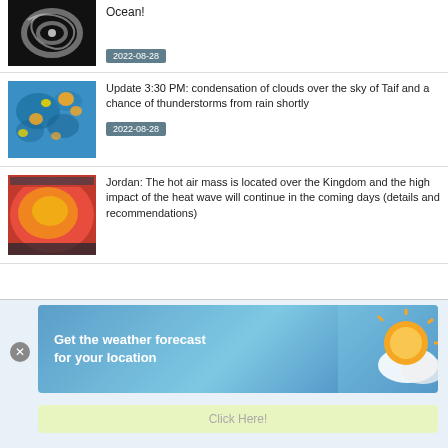[Figure (photo): Satellite image of a hurricane/cyclone over ocean, dark background with white swirl]
Ocean!
2022-08-28
[Figure (photo): Radar/precipitation map showing blue background with orange and yellow blobs indicating rain clouds]
Update 3:30 PM: condensation of clouds over the sky of Taif and a chance of thunderstorms from rain shortly
2022-08-28
[Figure (photo): Heat map of Jordan showing red/orange hot air mass over the region with Arabic text overlay]
Jordan: The hot air mass is located over the Kingdom and the high impact of the heat wave will continue in the coming days (details and recommendations)
[Figure (infographic): Weather forecast advertisement banner with blue sky background, sun icon, and text 'Get the weather forecast for your location']
Get the weather forecast for your location
Click Here!